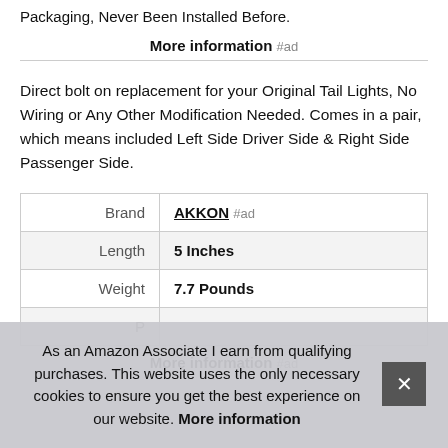Packaging, Never Been Installed Before.
More information #ad
Direct bolt on replacement for your Original Tail Lights, No Wiring or Any Other Modification Needed. Comes in a pair, which means included Left Side Driver Side & Right Side Passenger Side.
|  |  |
| --- | --- |
| Brand | AKKON #ad |
| Length | 5 Inches |
| Weight | 7.7 Pounds |
| P |  |
As an Amazon Associate I earn from qualifying purchases. This website uses the only necessary cookies to ensure you get the best experience on our website. More information
More information #ad